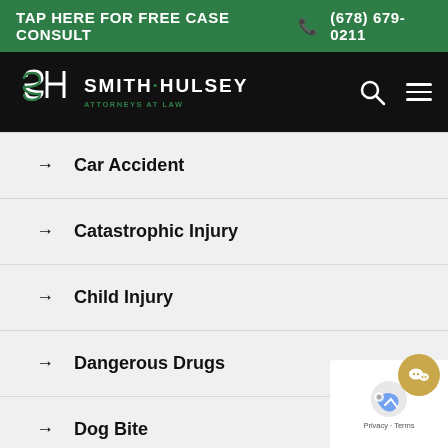TAP HERE FOR FREE CASE CONSULT  (678) 679-0211
[Figure (logo): Smith Hulsey Attorneys at Law logo with navigation bar on black background]
Car Accident
Catastrophic Injury
Child Injury
Dangerous Drugs
Dog Bite